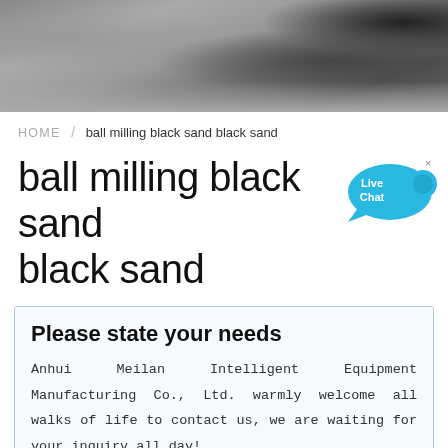[Figure (photo): Header banner photo showing an industrial manufacturing facility interior with equipment and machinery in dark/moody lighting]
HOME / ball milling black sand black sand
ball milling black sand black sand
Please state your needs
Anhui Meilan Intelligent Equipment Manufacturing Co., Ltd. warmly welcome all walks of life to contact us, we are waiting for your inquiry all day!
Name:* Such as: petter